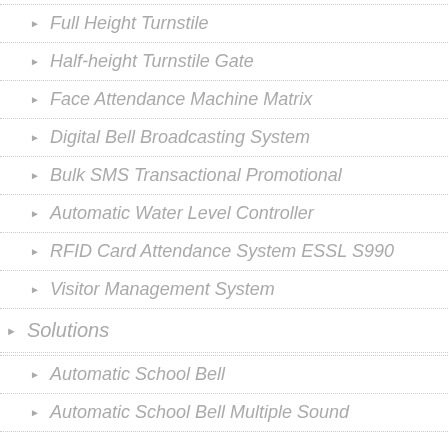Full Height Turnstile
Half-height Turnstile Gate
Face Attendance Machine Matrix
Digital Bell Broadcasting System
Bulk SMS Transactional Promotional
Automatic Water Level Controller
RFID Card Attendance System ESSL S990
Visitor Management System
Solutions
Automatic School Bell
Automatic School Bell Multiple Sound